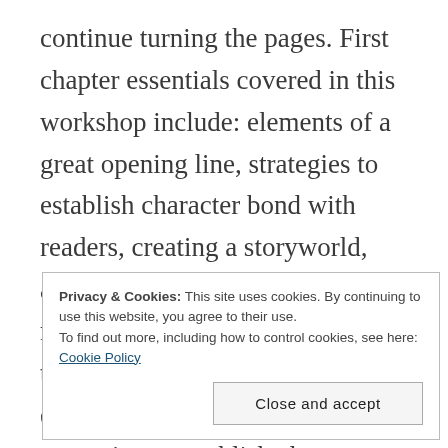continue turning the pages. First chapter essentials covered in this workshop include: elements of a great opening line, strategies to establish character bond with readers, creating a storyworld, and common first chapter mistakes and how to correct them, first chapter essentials, elements of a great opening line, strategies to establish character bond with readers, creating a storyworld, and
Privacy & Cookies: This site uses cookies. By continuing to use this website, you agree to their use. To find out more, including how to control cookies, see here: Cookie Policy
Close and accept
Robin Patchen